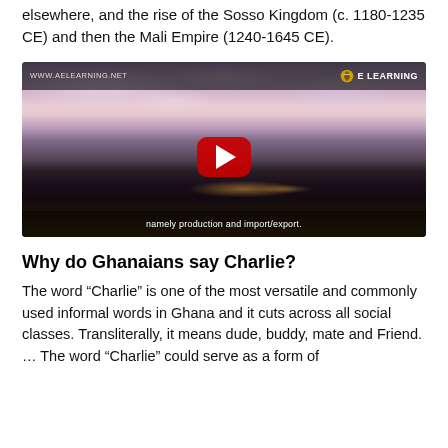elsewhere, and the rise of the Sosso Kingdom (c. 1180-1235 CE) and then the Mali Empire (1240-1645 CE).
[Figure (screenshot): YouTube-style video thumbnail showing a dramatic ocean/sky sunset scene with purple and pink clouds. Top bar shows 'WWW.AELEARNING.NET' and 'E LEARNING' logo. A red play button is centered. Subtitle reads 'namely production and import/export.']
Why do Ghanaians say Charlie?
The word “Charlie” is one of the most versatile and commonly used informal words in Ghana and it cuts across all social classes. Transliterally, it means dude, buddy, mate and Friend. … The word “Charlie” could serve as a form of